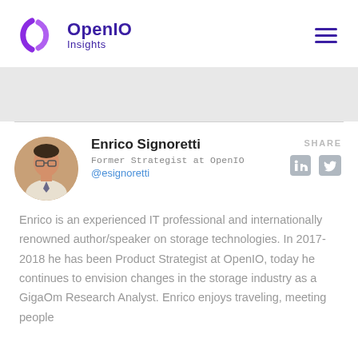OpenIO Insights
[Figure (photo): Circular profile photo of Enrico Signoretti, a man with glasses]
Enrico Signoretti
Former Strategist at OpenIO
@esignoretti
SHARE
Enrico is an experienced IT professional and internationally renowned author/speaker on storage technologies. In 2017-2018 he has been Product Strategist at OpenIO, today he continues to envision changes in the storage industry as a GigaOm Research Analyst. Enrico enjoys traveling, meeting people